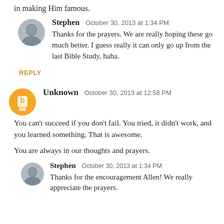in making Him famous.
Stephen  October 30, 2013 at 1:34 PM
Thanks for the prayers. We are really hoping these go much better. I guess really it can only go up from the last Bible Study, haha.
REPLY
Unknown  October 30, 2013 at 12:58 PM
You can't succeed if you don't fail. You tried, it didn't work, and you learned something. That is awesome.

You are always in our thoughts and prayers.
Stephen  October 30, 2013 at 1:34 PM
Thanks for the encouragement Allen! We really appreciate the prayers.